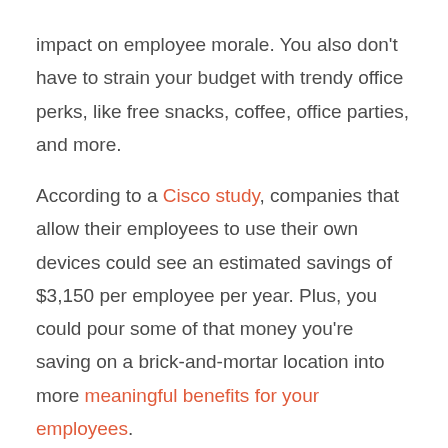impact on employee morale. You also don't have to strain your budget with trendy office perks, like free snacks, coffee, office parties, and more.
According to a Cisco study, companies that allow their employees to use their own devices could see an estimated savings of $3,150 per employee per year. Plus, you could pour some of that money you're saving on a brick-and-mortar location into more meaningful benefits for your employees.
Ask just about anyone if they'd rather have a foosball table in the break room or health insurance, and they'd surely say the latter. Trendy